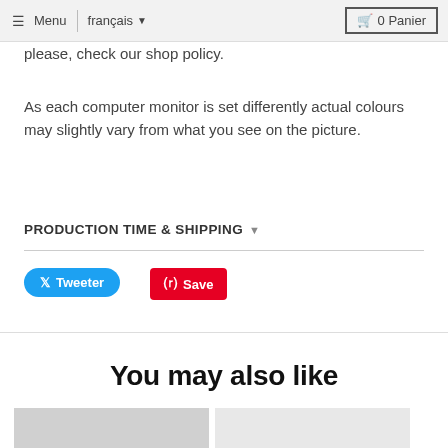Menu  français  0 Panier
please, check our shop policy.
As each computer monitor is set differently actual colours may slightly vary from what you see on the picture.
PRODUCTION TIME & SHIPPING
Tweeter
Save
You may also like